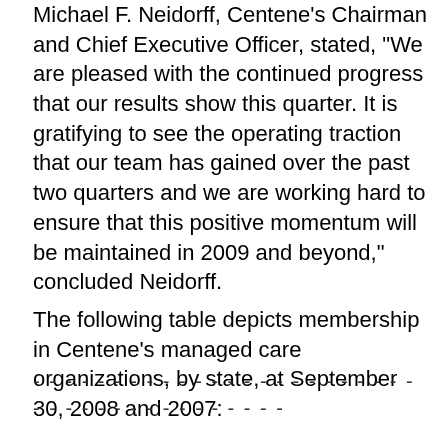Michael F. Neidorff, Centene's Chairman and Chief Executive Officer, stated, "We are pleased with the continued progress that our results show this quarter. It is gratifying to see the operating traction that our team has gained over the past two quarters and we are working hard to ensure that this positive momentum will be maintained in 2009 and beyond," concluded Neidorff.
The following table depicts membership in Centene's managed care organizations, by state, at September 30, 2008 and 2007: